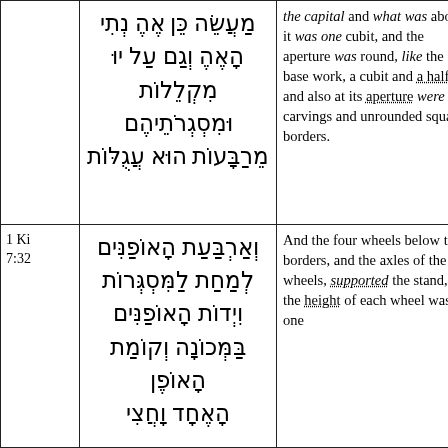| Reference | Hebrew | English |
| --- | --- | --- |
|  | מַעֲשֵׂה כֵּן אֶה נְתִי הָאֶהֶ וְגַם עַל יוּ מִקְלֵלוֹת וּמִסְגְרֹתֵיהֶם מֵרַבָּעוֹת הוּא עֲגֻלּוֹת | the capital and what was above it was one cubit, and the aperture was round, like the base work, a cubit and a half, and also at its aperture were carvings and unrounded square borders. |
| 1 Ki 7:32 | וְאַרְבַּעַת הָאוֹפַנִּים לְמַחַת לַמִּסְגְּרוֹת וִיְדוֹת הָאוֹפַנִּים בַּמְּכוֹנָה וְקוֹמַת הָאוֹפֶן הָאֶחָד וָחֲצִי | And the four wheels below the borders, and the axles of the wheels, supported the stand, and the height of each wheel was one |